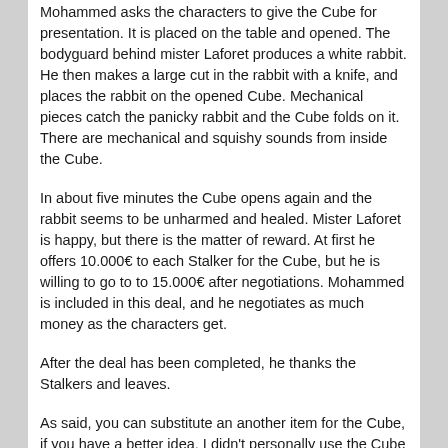Mohammed asks the characters to give the Cube for presentation. It is placed on the table and opened. The bodyguard behind mister Laforet produces a white rabbit. He then makes a large cut in the rabbit with a knife, and places the rabbit on the opened Cube. Mechanical pieces catch the panicky rabbit and the Cube folds on it. There are mechanical and squishy sounds from inside the Cube.
In about five minutes the Cube opens again and the rabbit seems to be unharmed and healed. Mister Laforet is happy, but there is the matter of reward. At first he offers 10.000€ to each Stalker for the Cube, but he is willing to go to to 15.000€ after negotiations. Mohammed is included in this deal, and he negotiates as much money as the characters get.
After the deal has been completed, he thanks the Stalkers and leaves.
As said, you can substitute an another item for the Cube, if you have a better idea. I didn't personally use the Cube and mister Laforet anymore, but they were there for